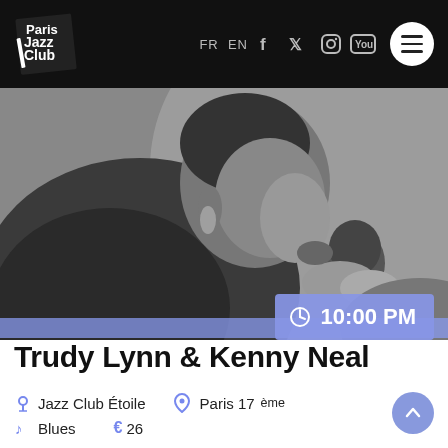Paris Jazz Club — FR EN — social icons — menu
[Figure (photo): Black and white close-up photo of a female singer holding a microphone to her mouth, wearing an ornate jacket and earrings.]
10:00 PM
Trudy Lynn & Kenny Neal
Jazz Club Étoile   Paris 17ème
Blues   € 26